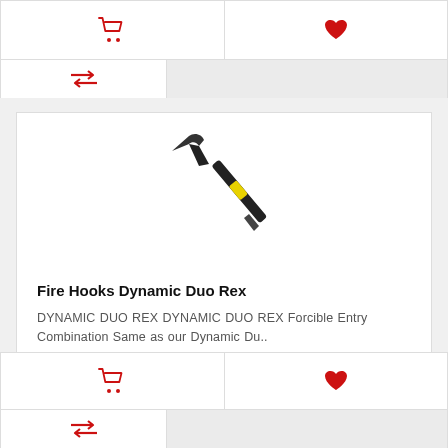[Figure (screenshot): Top UI bar with shopping cart icon (red) and heart/wishlist icon (red), and a compare arrows icon (red) on left, gray area on right]
[Figure (photo): Product image of a Fire Hooks Dynamic Duo Rex tool (forcible entry combination tool) — black and yellow handle with hook/pick head, shown diagonally]
Fire Hooks Dynamic Duo Rex
DYNAMIC DUO REX DYNAMIC DUO REX Forcible Entry Combination Same as our Dynamic Du..
$412.95
[Figure (screenshot): Bottom UI bar with shopping cart icon (red) and heart/wishlist icon (red), and a compare arrows icon (red) on left, gray area on right]